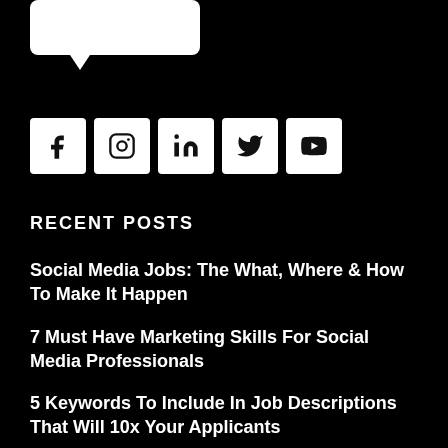[Figure (illustration): White chat bubble icon on black background, partially cropped at top]
[Figure (infographic): Row of five social media icon buttons: Facebook (f), Instagram, LinkedIn (in), Twitter (bird), YouTube (play button), white squares on black background]
RECENT POSTS
Social Media Jobs: The What, Where & How To Make It Happen
7 Must Have Marketing Skills For Social Media Professionals
5 Keywords To Include In Job Descriptions That Will 10x Your Applicants